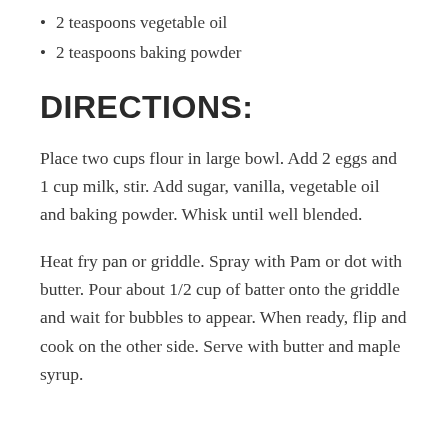2 teaspoons vegetable oil
2 teaspoons baking powder
DIRECTIONS:
Place two cups flour in large bowl. Add 2 eggs and 1 cup milk, stir. Add sugar, vanilla, vegetable oil and baking powder. Whisk until well blended.
Heat fry pan or griddle. Spray with Pam or dot with butter. Pour about 1/2 cup of batter onto the griddle and wait for bubbles to appear. When ready, flip and cook on the other side. Serve with butter and maple syrup.